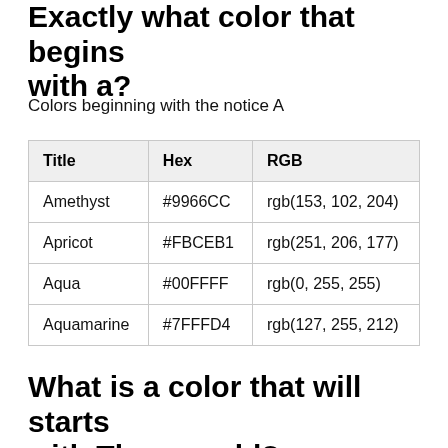Exactly what color that begins with a?
Colors beginning with the notice A
| Title | Hex | RGB |
| --- | --- | --- |
| Amethyst | #9966CC | rgb(153, 102, 204) |
| Apricot | #FBCEB1 | rgb(251, 206, 177) |
| Aqua | #00FFFF | rgb(0, 255, 255) |
| Aquamarine | #7FFFD4 | rgb(127, 255, 212) |
What is a color that will starts with They would?